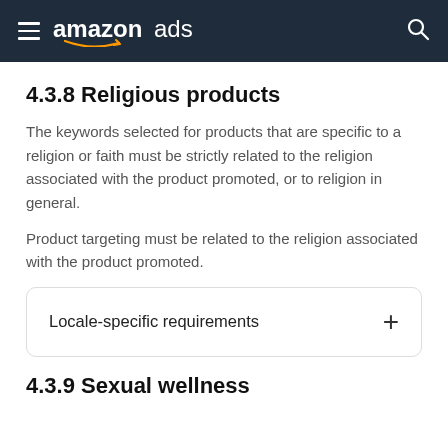amazon ads
4.3.8 Religious products
The keywords selected for products that are specific to a religion or faith must be strictly related to the religion associated with the product promoted, or to religion in general.
Product targeting must be related to the religion associated with the product promoted.
Locale-specific requirements
4.3.9 Sexual wellness